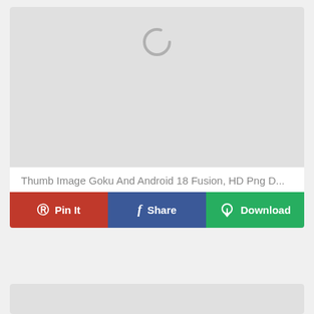[Figure (screenshot): Loading image placeholder with spinner icon — gray background with circular loading spinner near top center]
Thumb Image Goku And Android 18 Fusion, HD Png D...
[Figure (screenshot): Social sharing button row with three buttons: Pin It (red, Pinterest), Share (blue, Facebook), Download (green, cloud icon)]
[Figure (screenshot): Second card with gray loading placeholder at the bottom of the page]